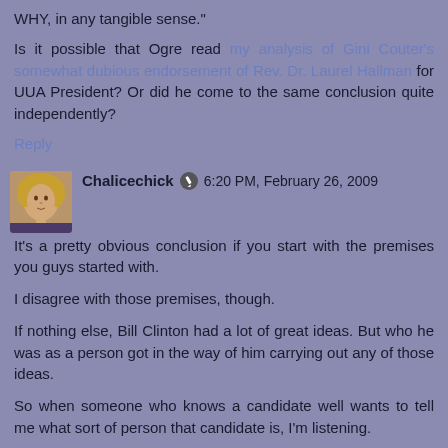WHY, in any tangible sense."
Is it possible that Ogre read my analysis of Gini Couter's somewhat dubious endorsement of Rev. Dr. Laurel Hallman for UUA President? Or did he come to the same conclusion quite independently?
Reply
Chalicechick  6:20 PM, February 26, 2009
It's a pretty obvious conclusion if you start with the premises you guys started with.
I disagree with those premises, though.
If nothing else, Bill Clinton had a lot of great ideas. But who he was as a person got in the way of him carrying out any of those ideas.
So when someone who knows a candidate well wants to tell me what sort of person that candidate is, I'm listening.